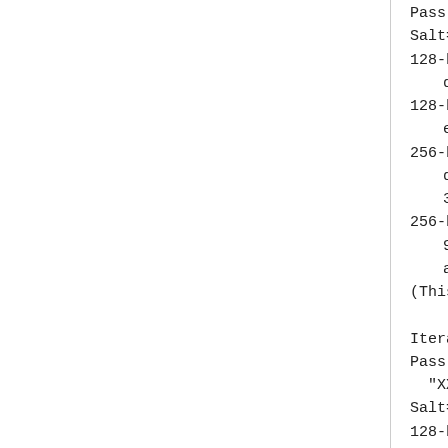Salt=0x12345678785634120
128-bit PBKDF2 output:
d1 da a7 86 15 f2 87 e...
128-bit AES key:
e9 b2 3d 52 27 37 47 d...
256-bit PBKDF2 output:
d1 da a7 86 15 f2 87 e...
3f 98 d2 03 e6 be 49 a...
256-bit AES key:
97 a4 e7 86 be 20 d8 1...
ab cd ad c8 7c a4 8f 5...
(This test is based on va...
Iteration count = 1200
Pass phrase = (64 characte...
"XXXXXXXXXXXXXXXXXXXXXXX...
Salt="pass phrase equals b...
128-bit PBKDF2 output:
13 9c 30 c0 96 6b c3 2...
128-bit AES key: